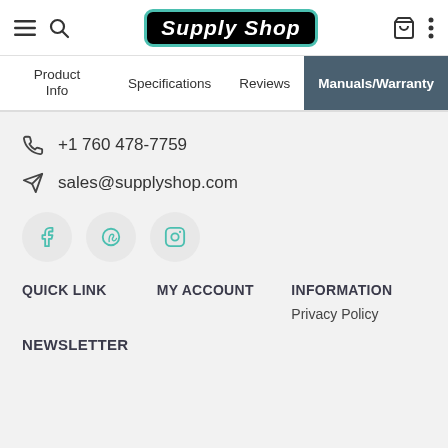[Figure (logo): Supply Shop logo - black rounded rectangle with teal border, white italic bold text]
Product Info | Specifications | Reviews | Manuals/Warranty
+1 760 478-7759
sales@supplyshop.com
[Figure (illustration): Social media icons: Facebook, Pinterest, Instagram in circular buttons]
QUICK LINK
MY ACCOUNT
INFORMATION
Privacy Policy
NEWSLETTER